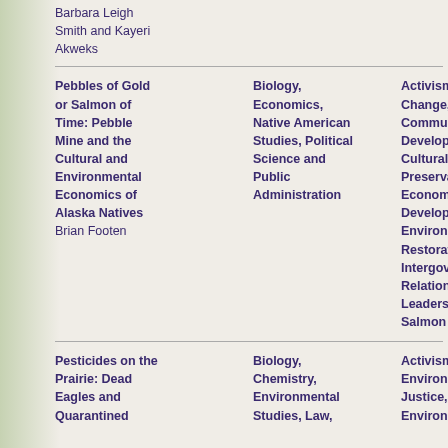Barbara Leigh Smith and Kayeri Akweks
| Title / Author | Disciplines | Themes |  |
| --- | --- | --- | --- |
| Pebbles of Gold or Salmon of Time: Pebble Mine and the Cultural and Environmental Economics of Alaska Natives
Brian Footen | Biology, Economics, Native American Studies, Political Science and Public Administration | Activism, Climate Change, Community Development, Cultural Preservation, Economic Development, Environmental Restoration, Intergovernmental Relations, Leadership, Salmon |  |
| Pesticides on the Prairie: Dead Eagles and Quarantined | Biology, Chemistry, Environmental Studies, Law, | Activism, Environmental Justice, Environmental | Standing Rock |